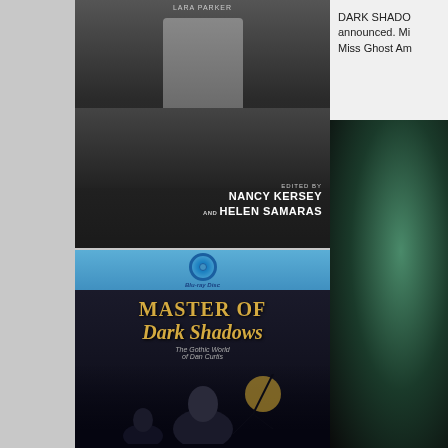[Figure (photo): Book cover showing a man in a grey suit standing on a city rooftop. Text reads 'LARA PARKER' at top, and 'EDITED BY NANCY KERSEY AND HELEN SAMARAS' at bottom right.]
[Figure (photo): Blu-ray disc cover for 'Master of Dark Shadows: The Gothic World of Dan Curtis'. Features the Blu-ray Disc logo at top on blue background, and gothic artwork with figures and moonlit scene below.]
DARK SHADO announced. Mi Miss Ghost Am
[Figure (photo): Partial image on right side showing a dark close-up photo, appears to be a face or portrait with dark teal/green background.]